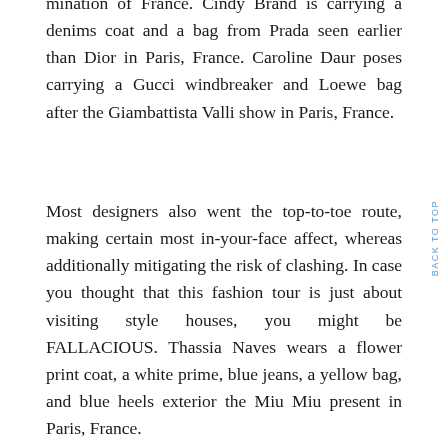mination of France. Cindy Brand is carrying a denims coat and a bag from Prada seen earlier than Dior in Paris, France. Caroline Daur poses carrying a Gucci windbreaker and Loewe bag after the Giambattista Valli show in Paris, France.

Most designers also went the top-to-toe route, making certain most in-your-face affect, whereas additionally mitigating the risk of clashing. In case you thought that this fashion tour is just about visiting style houses, you might be FALLACIOUS. Thassia Naves wears a flower print coat, a white prime, blue jeans, a yellow bag, and blue heels exterior the Miu Miu present in Paris, France.